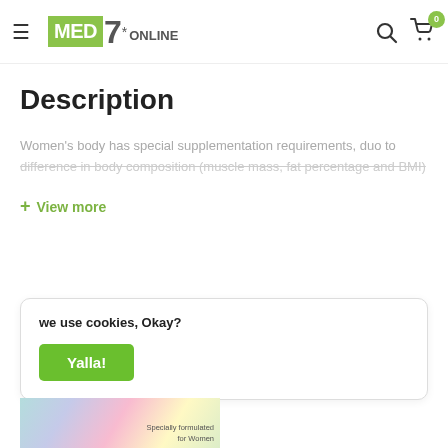MED7*ONLINE — navigation header with search and cart (0 items)
Description
Women's body has special supplementation requirements, duo to difference in body composition (muscle mass, fat percentage and BMI)
+ View more
we use cookies, Okay?
Yalla!
[Figure (photo): Partial view of a product package at the bottom of the page]